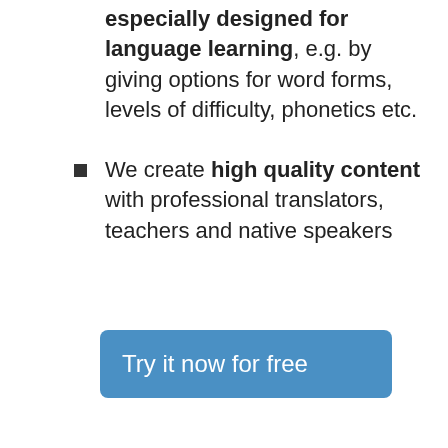especially designed for language learning, e.g. by giving options for word forms, levels of difficulty, phonetics etc.
We create high quality content with professional translators, teachers and native speakers
Try it now for free
[Figure (photo): A smiling woman with dark curly hair wearing a light blue polo shirt, leaning forward toward the camera on a white background.]